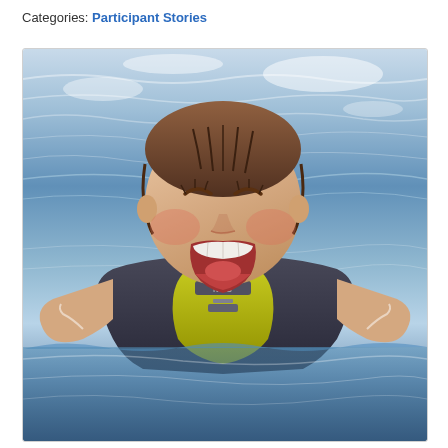Categories: Participant Stories
[Figure (photo): A smiling child in a life vest (NRS brand, dark navy with yellow panels) in water, eyes closed in joy, laughing with mouth wide open showing teeth. The background shows rippling blue-grey water. The child has wet hair and rosy cheeks.]